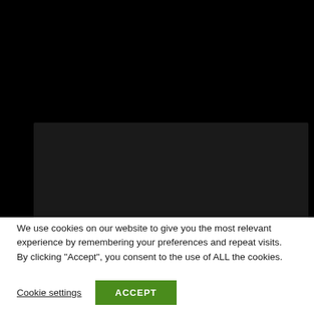[Figure (screenshot): Dark background panel with partial serif white text reading 'House of Operation' at the bottom, overlaid by a cookie consent banner]
We use cookies on our website to give you the most relevant experience by remembering your preferences and repeat visits. By clicking “Accept”, you consent to the use of ALL the cookies.
Cookie settings
ACCEPT